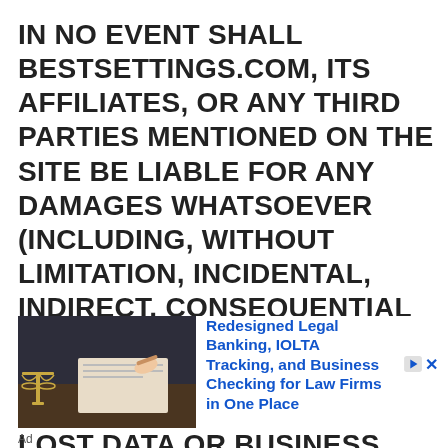IN NO EVENT SHALL BESTSETTINGS.COM, ITS AFFILIATES, OR ANY THIRD PARTIES MENTIONED ON THE SITE BE LIABLE FOR ANY DAMAGES WHATSOEVER (INCLUDING, WITHOUT LIMITATION, INCIDENTAL, INDIRECT, CONSEQUENTIAL OR PUNITIVE DAMAGES, LOST PROFITS, OR DAMAGES RESULTING FROM LOST DATA OR BUSINESS INTERRUPTION)
[Figure (photo): Photo of a lawyer signing documents with golden scales of justice in foreground, on a dark desk background]
Redesigned Legal Banking, IOLTA Tracking, and Business Checking for Law Firms in One Place
Ad